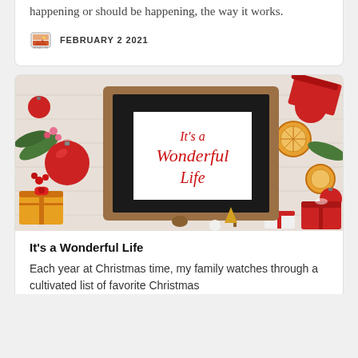happening or should be happening, the way it works.
FEBRUARY 2 2021
[Figure (photo): A framed picture reading 'It's a Wonderful Life' in red cursive script, surrounded by Christmas ornaments, gifts, pine branches, and dried orange slices on a white wooden surface.]
It's a Wonderful Life
Each year at Christmas time, my family watches through a cultivated list of favorite Christmas